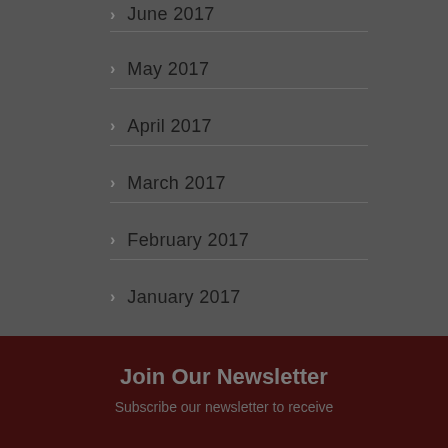June 2017
May 2017
April 2017
March 2017
February 2017
January 2017
[Figure (other): Animated loading spinner with white dots arranged in a circular arc pattern]
Join Our Newsletter
Subscribe our newsletter to receive